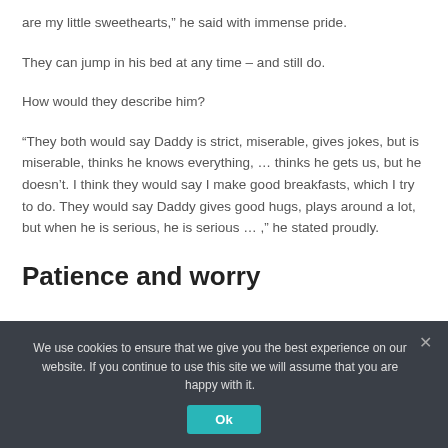are my little sweethearts,” he said with immense pride.
They can jump in his bed at any time – and still do.
How would they describe him?
“They both would say Daddy is strict, miserable, gives jokes, but is miserable, thinks he knows everything, … thinks he gets us, but he doesn’t. I think they would say I make good breakfasts, which I try to do. They would say Daddy gives good hugs, plays around a lot, but when he is serious, he is serious … ,” he stated proudly.
Patience and worry
We use cookies to ensure that we give you the best experience on our website. If you continue to use this site we will assume that you are happy with it.